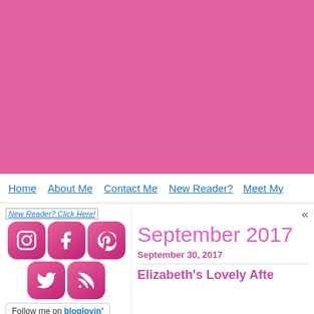[Figure (illustration): Large pink/hot-pink banner header background for a blog]
Home  |  About Me  |  Contact Me  |  New Reader?  |  Meet My...
[Figure (illustration): New Reader? Click Here! image link with alt text]
[Figure (illustration): Social media icon buttons: Instagram, Facebook, Pinterest, Twitter, RSS (pink rounded square icons)]
[Figure (illustration): Follow me on bloglovin' button]
September 2017
September 30, 2017
Elizabeth's Lovely Afte...